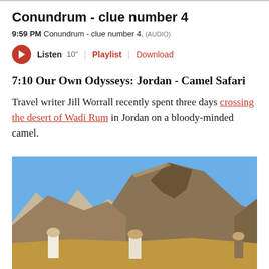Conundrum - clue number 4
9:59 PM Conundrum - clue number 4. (AUDIO)
Listen 10" | Playlist | Download
7:10 Our Own Odysseys: Jordan - Camel Safari
Travel writer Jill Worrall recently spent three days crossing the desert of Wadi Rum in Jordan on a bloody-minded camel.
[Figure (photo): Photo of people standing in the Wadi Rum desert in Jordan with large rocky sandstone mountains in the background and blue sky above. Several people in traditional dress are visible in the foreground.]